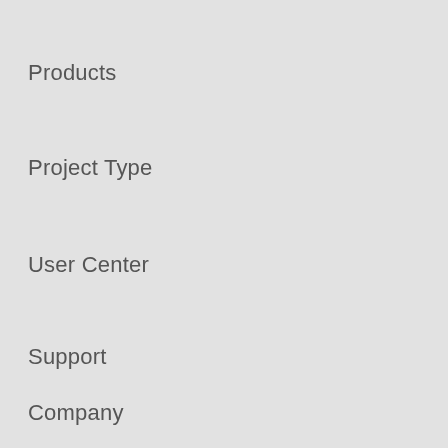Products
Project Type
User Center
Support
Company